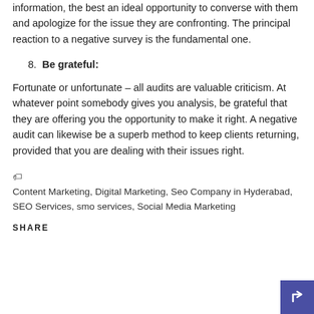information, the best an ideal opportunity to converse with them and apologize for the issue they are confronting. The principal reaction to a negative survey is the fundamental one.
8. Be grateful:
Fortunate or unfortunate – all audits are valuable criticism. At whatever point somebody gives you analysis, be grateful that they are offering you the opportunity to make it right. A negative audit can likewise be a superb method to keep clients returning, provided that you are dealing with their issues right.
Content Marketing, Digital Marketing, Seo Company in Hyderabad, SEO Services, smo services, Social Media Marketing
SHARE